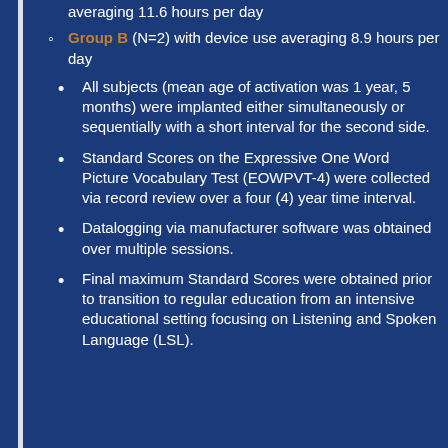averaging 11.6 hours per day
Group B (N=2) with device use averaging 8.9 hours per day
All subjects (mean age of activation was 1 year, 5 months) were implanted either simultaneously or sequentially with a short interval for the second side.
Standard Scores on the Expressive One Word Picture Vocabulary Test (EOWPVT-4) were collected via record review over a four (4) year time interval.
Datalogging via manufacturer software was obtained over multiple sessions.
Final maximum Standard Scores were obtained prior to transition to regular education from an intensive educational setting focusing on Listening and Spoken Language (LSL).